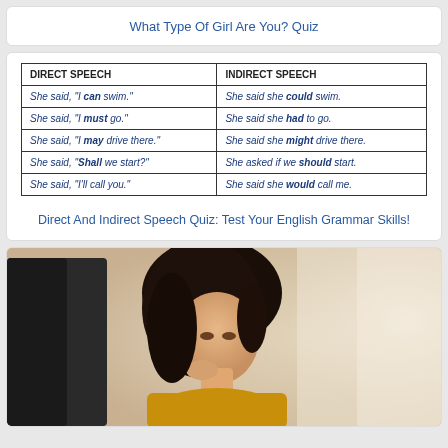What Type Of Girl Are You? Quiz
| DIRECT SPEECH | INDIRECT SPEECH |
| --- | --- |
| She said, "I can swim." | She said she could swim. |
| She said, "I must go." | She said she had to go. |
| She said, "I may drive there." | She said she might drive there. |
| She said, "Shall we start?" | She asked if we should start. |
| She said, "I'll call you." | She said she would call me. |
Direct And Indirect Speech Quiz: Test Your English Grammar Skills!
[Figure (photo): A young Asian woman sitting by a window on a train, resting her chin on her hand and gazing outside thoughtfully. She is wearing a yellow/mustard top.]